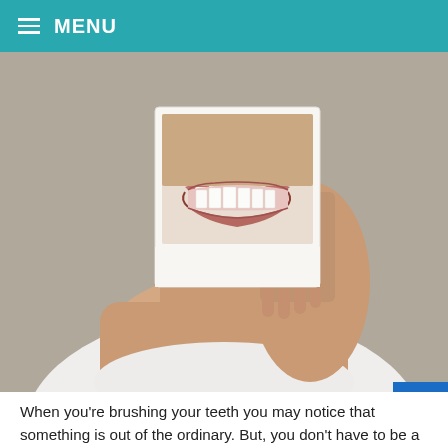MENU
[Figure (photo): Person holding a polaroid photo of a smiling mouth with white teeth up to their face, concealing their own mouth. The person is wearing a white t-shirt. Background is blurred grey.]
When you're brushing your teeth you may notice that something is out of the ordinary. But, you don't have to be a dentist to see the signs of a larger dental issue. A small sign may be enough to be proactive about your dental health.
Small Problems Can Become Larger